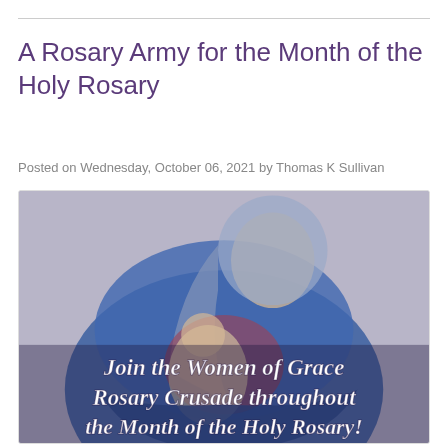A Rosary Army for the Month of the Holy Rosary
Posted on Wednesday, October 06, 2021 by Thomas K Sullivan
[Figure (illustration): Painting of the Virgin Mary in blue robes holding the infant Jesus, with overlaid text reading 'Join the Women of Grace Rosary Crusade throughout the Month of the Holy Rosary!']